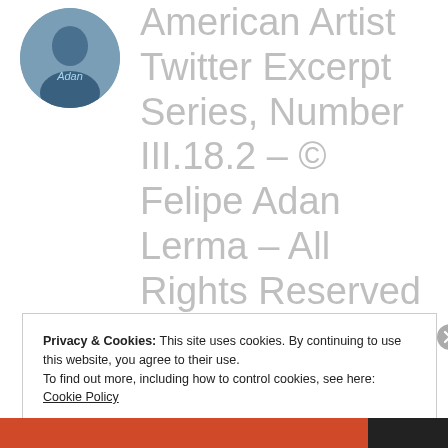[Figure (photo): Circular avatar photo of a person wearing a blue shirt with the name 'Adan' visible]
American Artist Twitter Excerpt Series, Number III.18.2 – © Felipe Adan Lerma – All Rights Reserved – Blogging at WordPress Since 2011 :)
Privacy & Cookies: This site uses cookies. By continuing to use this website, you agree to their use.
To find out more, including how to control cookies, see here:
Cookie Policy
Close and accept